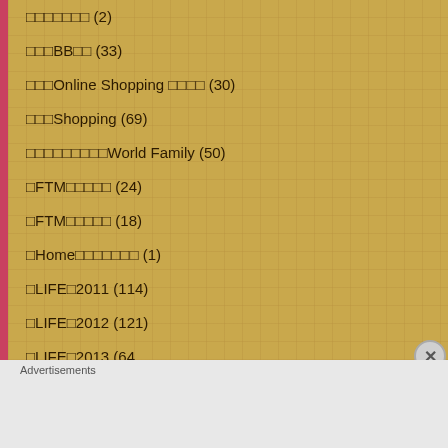□□□□□□□ (2)
□□□BB□□ (33)
□□□Online Shopping □□□□ (30)
□□□Shopping (69)
□□□□□□□□□World Family (50)
□FTM□□□□□ (24)
□FTM□□□□□ (18)
□Home□□□□□□□ (1)
□LIFE□2011 (114)
□LIFE□2012 (121)
□LIFE□2013 (64)
Advertisements
[Figure (screenshot): DuckDuckGo advertisement banner: Search, browse, and email with more privacy. All in One Free App]